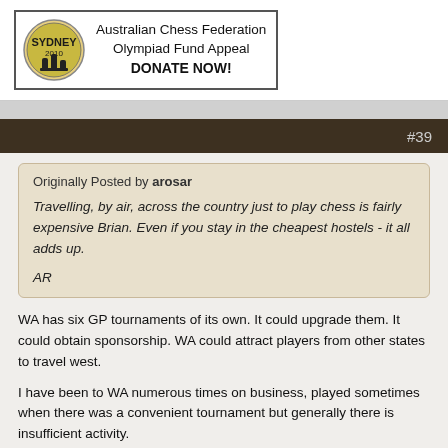[Figure (logo): Australian Chess Federation Olympiad Fund Appeal banner with chess logo and DONATE NOW! text]
#39
Originally Posted by arosar
Travelling, by air, across the country just to play chess is fairly expensive Brian. Even if you stay in the cheapest hostels - it all adds up.
AR
WA has six GP tournaments of its own. It could upgrade them. It could obtain sponsorship. WA could attract players from other states to travel west.

I have been to WA numerous times on business, played sometimes when there was a convenient tournament but generally there is insufficient activity.
I have been in Perth at weekends when no chess available.